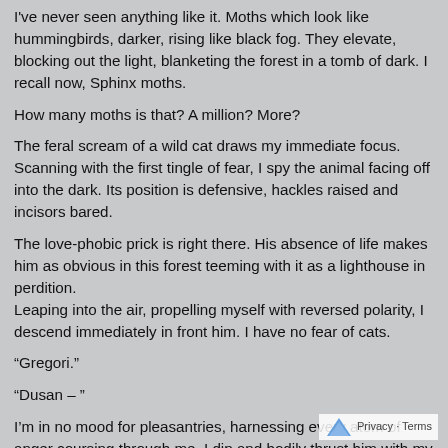I've never seen anything like it. Moths which look like hummingbirds, darker, rising like black fog. They elevate, blocking out the light, blanketing the forest in a tomb of dark. I recall now, Sphinx moths.
How many moths is that? A million? More?
The feral scream of a wild cat draws my immediate focus. Scanning with the first tingle of fear, I spy the animal facing off into the dark. Its position is defensive, hackles raised and incisors bared.
The love-phobic prick is right there. His absence of life makes him as obvious in this forest teeming with it as a lighthouse in perdition.
Leaping into the air, propelling myself with reversed polarity, I descend immediately in front him. I have no fear of cats.
“Gregori.”
“Dusan – ”
I’m in no mood for pleasantries, harnessing every atom of anger coursing through me, I dip and bodily thrust him with my shoulder back into the trunk of the Douglas fir behind him. He deflates like an ancient accordion.
Using the moment of his weakness, I question, “What the fuck